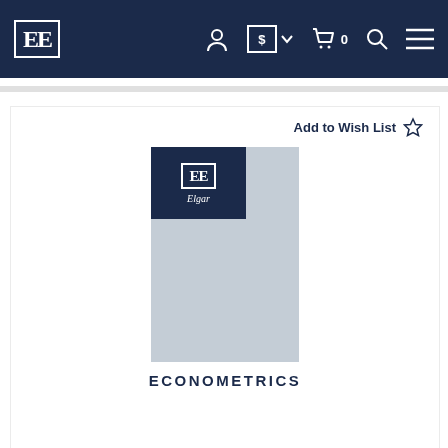[Figure (screenshot): Edward Elgar Publishing website navigation bar with EE logo, account icon, currency selector, cart with 0 items, search and menu icons on dark navy background]
Add to Wish List ☆
[Figure (illustration): Book cover for Econometrics published by Edward Elgar, gray cover with EE Elgar logo in top left corner]
ECONOMETRICS